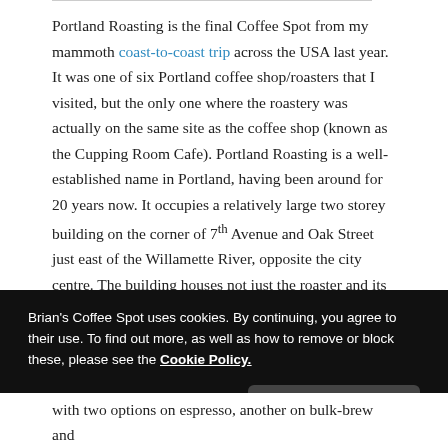Portland Roasting is the final Coffee Spot from my mammoth coast-to-coast trip across the USA last year. It was one of six Portland coffee shop/roasters that I visited, but the only one where the roastery was actually on the same site as the coffee shop (known as the Cupping Room Cafe). Portland Roasting is a well-established name in Portland, having been around for 20 years now. It occupies a relatively large two storey building on the corner of 7th Avenue and Oak Street just east of the Willamette River, opposite the city centre. The building houses not just the roaster and its two drum roasters, but it also provides a home to the company's administration
Brian's Coffee Spot uses cookies. By continuing, you agree to their use. To find out more, as well as how to remove or block these, please see the Cookie Policy.
with two options on espresso, another on bulk-brew and